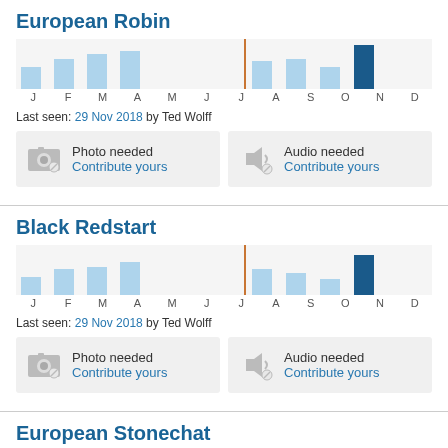European Robin
[Figure (bar-chart): Monthly sightings - European Robin]
Last seen: 29 Nov 2018 by Ted Wolff
Photo needed Contribute yours
Audio needed Contribute yours
Black Redstart
[Figure (bar-chart): Monthly sightings - Black Redstart]
Last seen: 29 Nov 2018 by Ted Wolff
Photo needed Contribute yours
Audio needed Contribute yours
European Stonechat